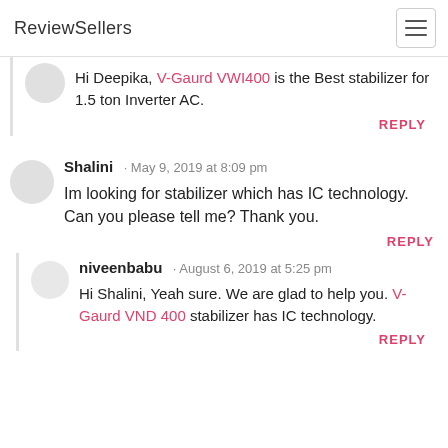ReviewSellers
Hi Deepika, V-Gaurd VWI400 is the Best stabilizer for 1.5 ton Inverter AC.
REPLY
Shalini · May 9, 2019 at 8:09 pm
Im looking for stabilizer which has IC technology. Can you please tell me? Thank you.
REPLY
niveenbabu · August 6, 2019 at 5:25 pm
Hi Shalini, Yeah sure. We are glad to help you. V-Gaurd VND 400 stabilizer has IC technology.
REPLY